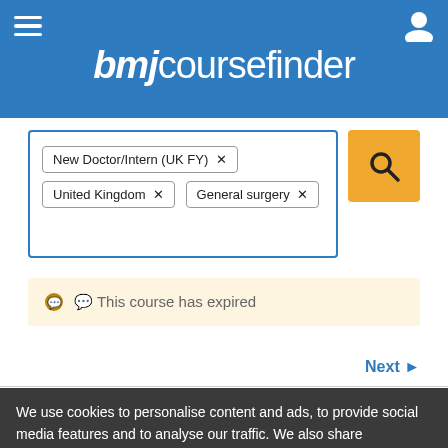bmjcoursefinder
New Doctor/Intern (UK FY) × United Kingdom × General surgery ×
This course has expired
Next ▶
We use cookies to personalise content and ads, to provide social media features and to analyse our traffic. We also share